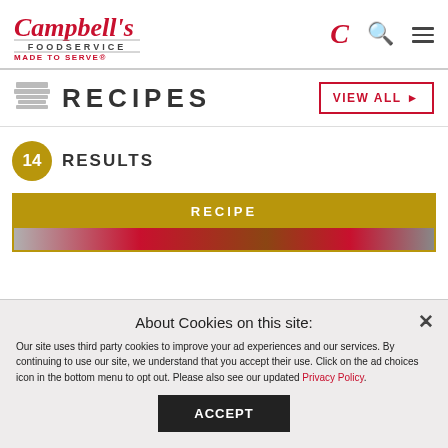Campbell's Foodservice - Made to Serve
RECIPES
VIEW ALL ▶
14 RESULTS
RECIPE
About Cookies on this site:
Our site uses third party cookies to improve your ad experiences and our services. By continuing to use our site, we understand that you accept their use. Click on the ad choices icon in the bottom menu to opt out. Please also see our updated Privacy Policy.
ACCEPT